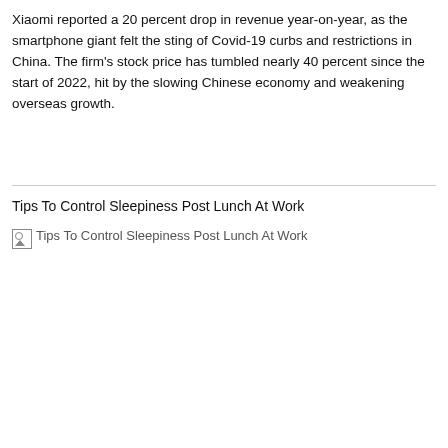Xiaomi reported a 20 percent drop in revenue year-on-year, as the smartphone giant felt the sting of Covid-19 curbs and restrictions in China. The firm's stock price has tumbled nearly 40 percent since the start of 2022, hit by the slowing Chinese economy and weakening overseas growth.
Tips To Control Sleepiness Post Lunch At Work
[Figure (photo): Broken image placeholder with alt text: Tips To Control Sleepiness Post Lunch At Work]